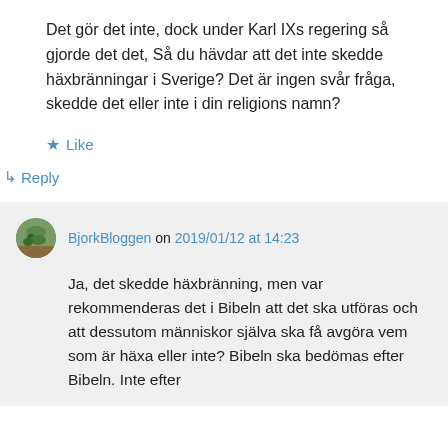Det gör det inte, dock under Karl IXs regering så gjorde det det, Så du hävdar att det inte skedde häxbränningar i Sverige? Det är ingen svår fråga, skedde det eller inte i din religions namn?
★ Like
↳ Reply
BjorkBloggen on 2019/01/12 at 14:23
Ja, det skedde häxbränning, men var rekommenderas det i Bibeln att det ska utföras och att dessutom människor själva ska få avgöra vem som är häxa eller inte? Bibeln ska bedömas efter Bibeln. Inte efter